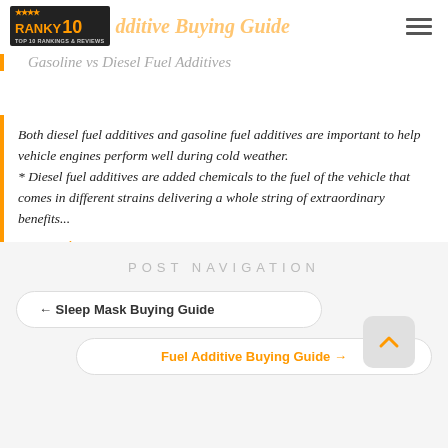Fuel Additive Buying Guide — Gasoline vs Diesel Fuel Additives
Both diesel fuel additives and gasoline fuel additives are important to help vehicle engines perform well during cold weather.
* Diesel fuel additives are added chemicals to the fuel of the vehicle that comes in different strains delivering a whole string of extraordinary benefits...
continued..
Post navigation
← Sleep Mask Buying Guide
Fuel Additive Buying Guide →